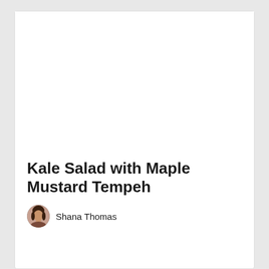[Figure (photo): Large food photo area (white/blank) at top of recipe card]
Kale Salad with Maple Mustard Tempeh
Shana Thomas